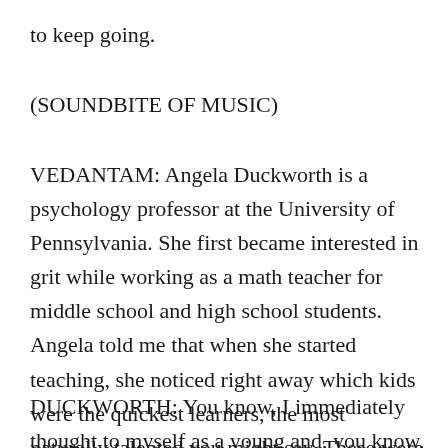to keep going.
(SOUNDBITE OF MUSIC)
VEDANTAM: Angela Duckworth is a psychology professor at the University of Pennsylvania. She first became interested in grit while working as a math teacher for middle school and high school students. Angela told me that when she started teaching, she noticed right away which kids were the quickest learners, the most naturally talented you might say. These were the kids who, when she explained a concept once, were immediately raising their hands to answer questions.
DUCKWORTH: You know, I immediately thought to myself as a young and, you know, wrong teacher that, OK, those are